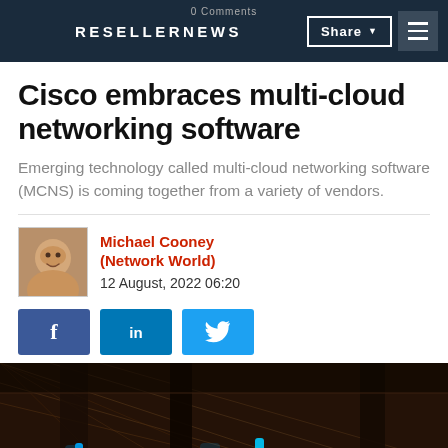RESELLERNEWS | Share | 0 Comments
Cisco embraces multi-cloud networking software
Emerging technology called multi-cloud networking software (MCNS) is coming together from a variety of vendors.
Michael Cooney (Network World)
12 August, 2022 06:20
[Figure (photo): Data center or server room photo with blue LED lights on server racks against a mesh/cage background]